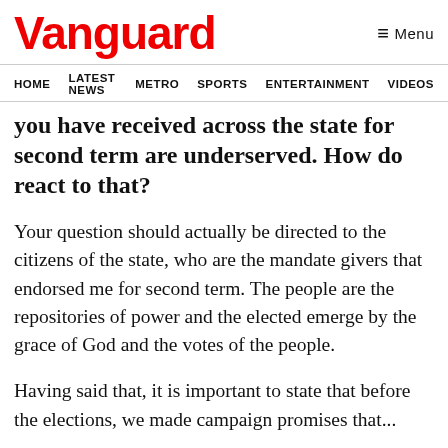Vanguard
HOME  LATEST NEWS  METRO  SPORTS  ENTERTAINMENT  VIDEOS
you have received across the state for second term are underserved. How do react to that?
Your question should actually be directed to the citizens of the state, who are the mandate givers that endorsed me for second term. The people are the repositories of power and the elected emerge by the grace of God and the votes of the people.
Having said that, it is important to state that before the elections, we made campaign promises that...